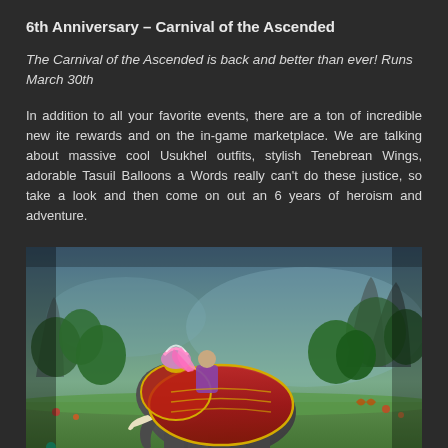6th Anniversary – Carnival of the Ascended
The Carnival of the Ascended is back and better than ever! Runs March 30th...
In addition to all your favorite events, there are a ton of incredible new items available as rewards and on the in-game marketplace. We are talking about massive cool Usukhel outfits, stylish Tenebrean Wings, adorable Tasuil Balloons a... Words really can't do these justice, so take a look and then come on out and celebrate 6 years of heroism and adventure.
[Figure (screenshot): Game screenshot showing a fantasy character riding a decorated elephant mount in a lush green forest environment. The elephant has ornate red and gold armor/decorations, and the rider has colorful wings. The scene is set in a vibrant fantasy world.]